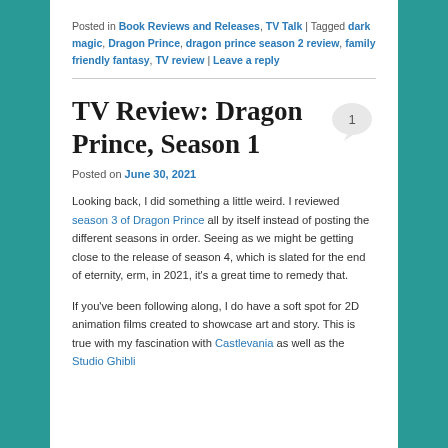Posted in Book Reviews and Releases, TV Talk | Tagged dark magic, Dragon Prince, dragon prince season 2 review, family friendly fantasy, TV review | Leave a reply
TV Review: Dragon Prince, Season 1
Posted on June 30, 2021
Looking back, I did something a little weird. I reviewed season 3 of Dragon Prince all by itself instead of posting the different seasons in order. Seeing as we might be getting close to the release of season 4, which is slated for the end of eternity, erm, in 2021, it's a great time to remedy that.
If you've been following along, I do have a soft spot for 2D animation films created to showcase art and story. This is true with my fascination with Castlevania as well as the Studio Ghibli